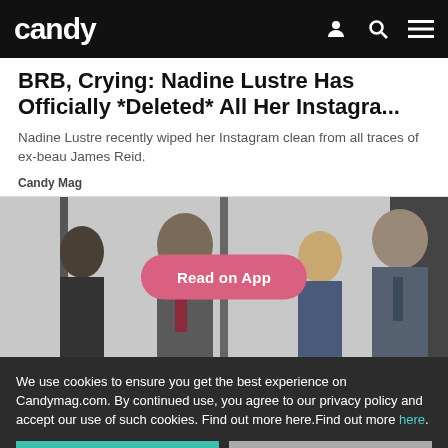candy
BRB, Crying: Nadine Lustre Has Officially *Deleted* All Her Instagra...
Nadine Lustre recently wiped her Instagram clean from all traces of ex-beau James Reid.
Candy Mag
[Figure (photo): Group of business professionals in suits, with a pink rounded-rectangle 'Read on App' button overlaid in the center of the image.]
We use cookies to ensure you get the best experience on Candymag.com. By continued use, you agree to our privacy policy and accept our use of such cookies. Find out more here.Find out more here.